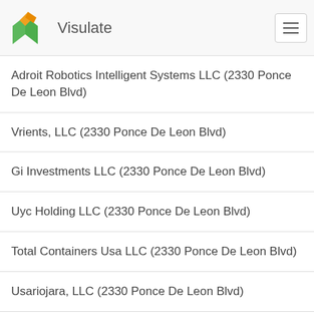Visulate
Adroit Robotics Intelligent Systems LLC (2330 Ponce De Leon Blvd)
Vrients, LLC (2330 Ponce De Leon Blvd)
Gi Investments LLC (2330 Ponce De Leon Blvd)
Uyc Holding LLC (2330 Ponce De Leon Blvd)
Total Containers Usa LLC (2330 Ponce De Leon Blvd)
Usariojara, LLC (2330 Ponce De Leon Blvd)
Bird Yellow LLC (2330 Ponce De Leon Blvd)
Telecam Usa LLC (2330 Ponce De Leon Blvd)
Arqee Upland LLC (2330 Ponce De Leon Blvd)